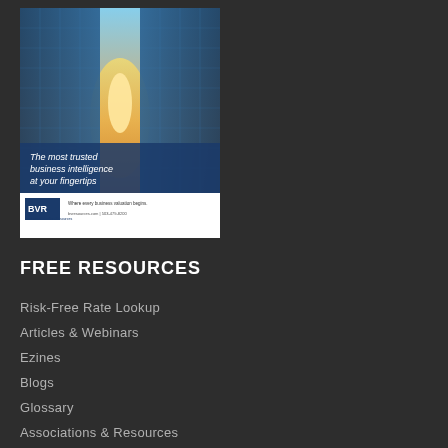[Figure (illustration): BVR advertisement showing glass skyscrapers with sunlight and text 'The most trusted business intelligence at your fingertips' with BVR logo and website at bottom]
FREE RESOURCES
Risk-Free Rate Lookup
Articles & Webinars
Ezines
Blogs
Glossary
Associations & Resources
Calendar of Events